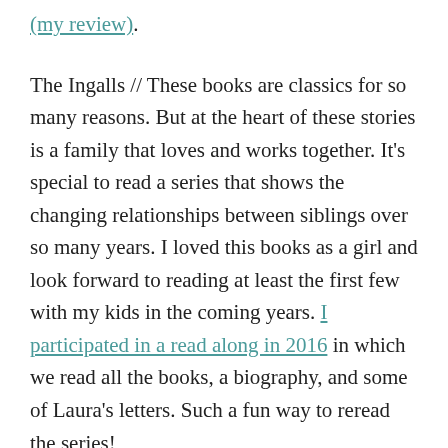(my review).
The Ingalls // These books are classics for so many reasons. But at the heart of these stories is a family that loves and works together. It’s special to read a series that shows the changing relationships between siblings over so many years. I loved this books as a girl and look forward to reading at least the first few with my kids in the coming years. I participated in a read along in 2016 in which we read all the books, a biography, and some of Laura’s letters. Such a fun way to reread the series!
Who are some of your favorite siblings in literature?